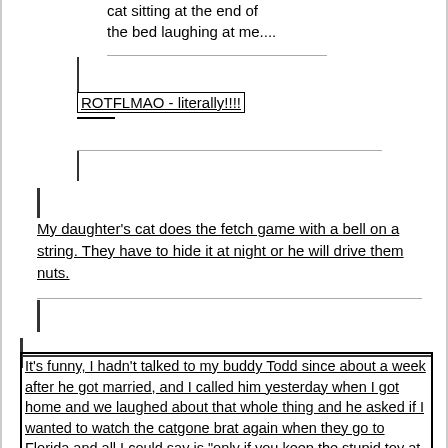cat sitting at the end of the bed laughing at me....
ROTFLMAO - literally!!!!
My daughter's cat does the fetch game with a bell on a string. They have to hide it at night or he will drive them nuts.
It's funny, I hadn't talked to my buddy Todd since about a week after he got married, and I called him yesterday when I got home and we laughed about that whole thing and he asked if I wanted to watch the catgone brat again when they go to Florida and all I could say is "only if you keep the stupid toy at home".